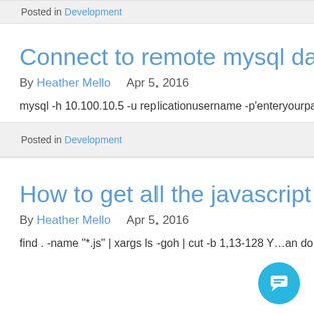Posted in Development
Connect to remote mysql databa…
By Heather Mello    Apr 5, 2016
mysql -h 10.100.10.5 -u replicationusername -p'enteryourpas…
Posted in Development
How to get all the javascript files…
By Heather Mello    Apr 5, 2016
find . -name "*.js" | xargs ls -goh | cut -b 1,13-128 Y…an do…